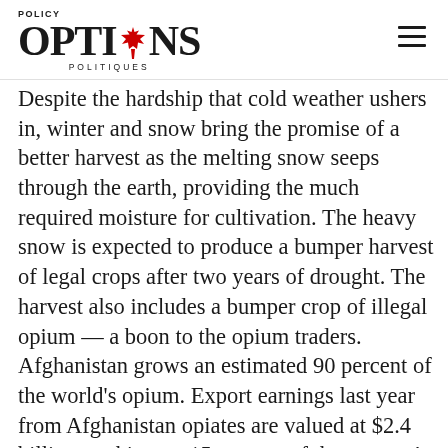POLICY OPTIONS POLITIQUES
Despite the hardship that cold weather ushers in, winter and snow bring the promise of a better harvest as the melting snow seeps through the earth, providing the much required moisture for cultivation. The heavy snow is expected to produce a bumper harvest of legal crops after two years of drought. The harvest also includes a bumper crop of illegal opium — a boon to the opium traders. Afghanistan grows an estimated 90 percent of the world's opium. Export earnings last year from Afghanistan opiates are valued at $2.4 billion, making up 15 percent of the country's GDP.